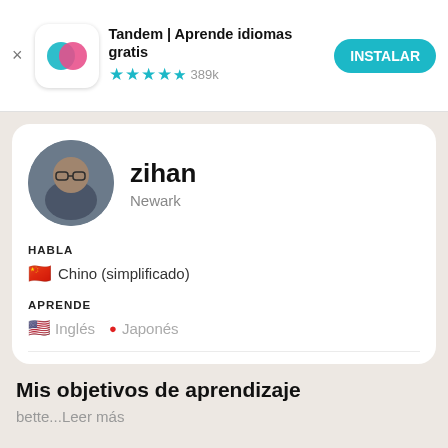[Figure (screenshot): App store banner showing Tandem app icon (overlapping teal and pink circles), app name, stars rating, and INSTALAR button]
Tandem | Aprende idiomas gratis
★★★★½ 389k
INSTALAR
[Figure (photo): Profile card showing photo of a young man wearing glasses (zihan from Newark)]
zihan
Newark
HABLA
🇨🇳 Chino (simplificado)
APRENDE
🇺🇸 Inglés  🔴 Japonés
Mis objetivos de aprendizaje
bette...Leer más